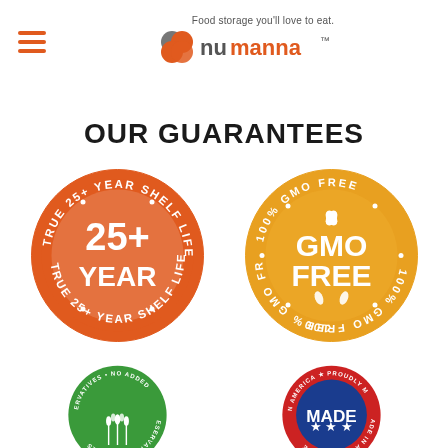[Figure (logo): NuManna logo with tagline 'Food storage you'll love to eat.' and three colored circle icons]
OUR GUARANTEES
[Figure (illustration): Orange circular badge stamp: 'TRUE 25+ YEAR SHELF LIFE' around border, '25+ YEAR' in center]
[Figure (illustration): Gold/yellow circular badge stamp: '100% GMO FREE' around border, 'GMO FREE' with leaf icons in center]
[Figure (illustration): Green circular badge stamp (partially visible): 'NO ADDED PRESERVATIVES' around border with wheat icons]
[Figure (illustration): Red/blue circular badge stamp (partially visible): 'PROUDLY MADE IN AMERICA' with stars]